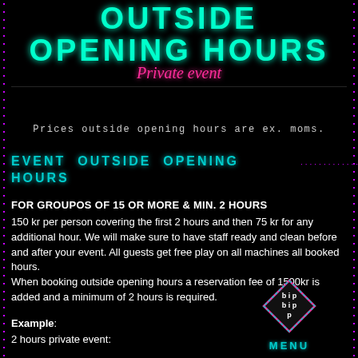OUTSIDE OPENING HOURS
Private event
Prices outside opening hours are ex. moms.
EVENT OUTSIDE OPENING HOURS
FOR GROUPOS OF 15 OR MORE & MIN. 2 HOURS
150 kr per person covering the first 2 hours and then 75 kr for any additional hour. We will make sure to have staff ready and clean before and after your event. All guests get free play on all machines all booked hours.
When booking outside opening hours a reservation fee of 1500kr is added and a minimum of 2 hours is required.
Example:
2 hours private event:
[Figure (logo): Bip Bip Menu diamond logo with pink and cyan outline diamond shape containing the text 'bip bip' arranged in a square pattern, with 'MENU' text below]